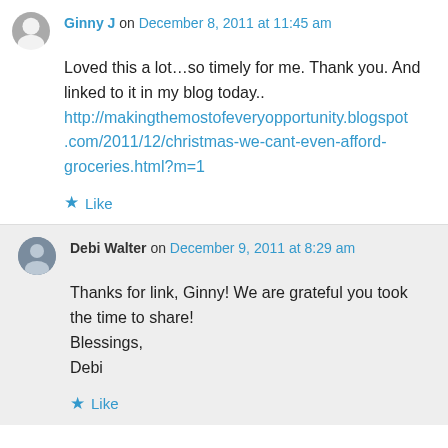Ginny J on December 8, 2011 at 11:45 am
Loved this a lot…so timely for me. Thank you. And linked to it in my blog today.. http://makingthemostofeveryopportunity.blogspot.com/2011/12/christmas-we-cant-even-afford-groceries.html?m=1
Like
Debi Walter on December 9, 2011 at 8:29 am
Thanks for link, Ginny! We are grateful you took the time to share! Blessings, Debi
Like